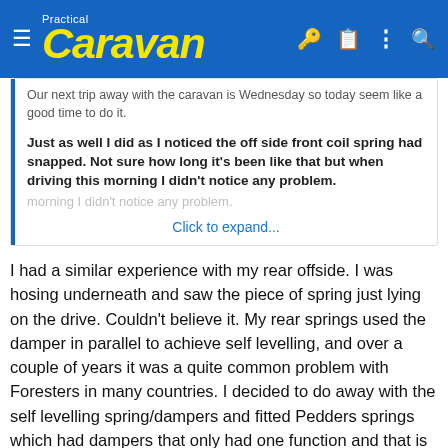Practical Caravan
Our next trip away with the caravan is Wednesday so today seem like a good time to do it.

Just as well I did as I noticed the off side front coil spring had snapped. Not sure how long it's been like that but when driving this morning I didn't notice any problem.

Click to expand...
I had a similar experience with my rear offside. I was hosing underneath and saw the piece of spring just lying on the drive. Couldn't believe it. My rear springs used the damper in parallel to achieve self levelling, and over a couple of years it was a quite common problem with Foresters in many countries. I decided to do away with the self levelling spring/dampers and fitted Pedders springs which had dampers that only had one function and that is to damp. The ride and handling were much improved and even with the rear heavily loaded the suspension doesn't really drop in height. The headlight self levelling I still retained as its feed comes from a different part of the suspension. But it's something I could have done without.